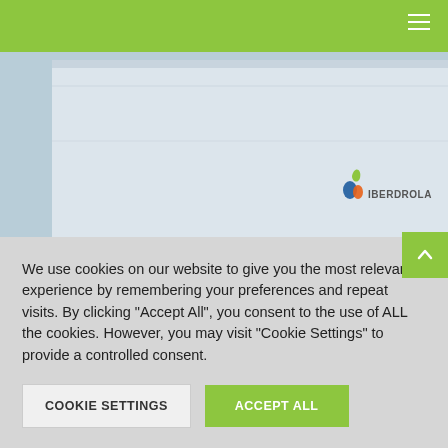[Figure (photo): Exterior photograph of a large industrial facility with Iberdrola logo on the facade, against a light blue sky background.]
Green Hydrogen Plant in Puertollano (Cuidad Real)
Industry, Industry and Energy, Renewables: Green Hydrogen and Biomethane Energy
We use cookies on our website to give you the most relevant experience by remembering your preferences and repeat visits. By clicking "Accept All", you consent to the use of ALL the cookies. However, you may visit "Cookie Settings" to provide a controlled consent.